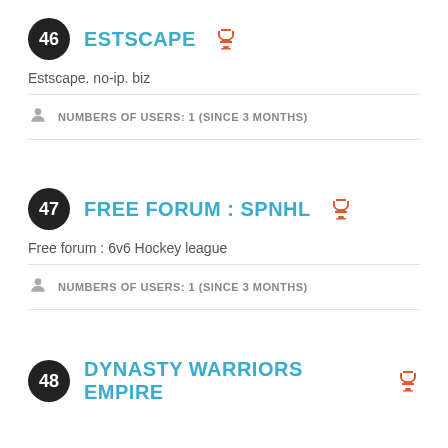46 ESTSCAPE
Estscape. no-ip. biz
NUMBERS OF USERS: 1 (SINCE 3 MONTHS)
47 FREE FORUM : SPNHL
Free forum : 6v6 Hockey league
NUMBERS OF USERS: 1 (SINCE 3 MONTHS)
48 DYNASTY WARRIORS EMPIRE